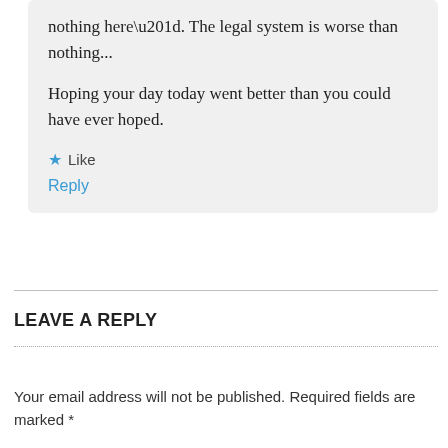nothing here”. The legal system is worse than nothing...

Hoping your day today went better than you could have ever hoped.
Like
Reply
LEAVE A REPLY
Your email address will not be published. Required fields are marked *